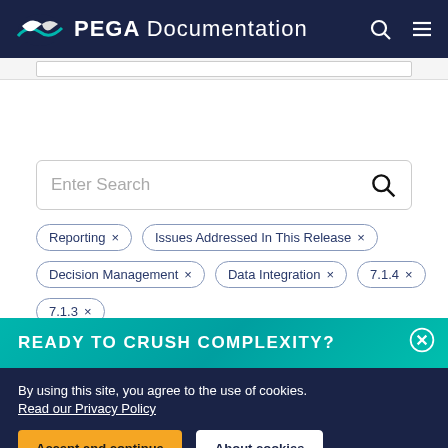PEGA Documentation
[Figure (screenshot): Search input bar stub at top]
[Figure (screenshot): Main search box with placeholder text 'Enter Search' and search icon]
Reporting ×
Issues Addressed In This Release ×
Decision Management ×
Data Integration ×
7.1.4 ×
7.1.3 ×
READY TO CRUSH COMPLEXITY?
By using this site, you agree to the use of cookies.
Read our Privacy Policy
Accept and continue
About cookies